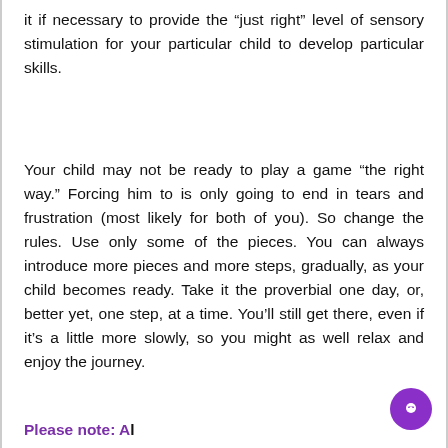it if necessary to provide the “just right” level of sensory stimulation for your particular child to develop particular skills.
Your child may not be ready to play a game “the right way.” Forcing him to is only going to end in tears and frustration (most likely for both of you). So change the rules. Use only some of the pieces. You can always introduce more pieces and more steps, gradually, as your child becomes ready. Take it the proverbial one day, or, better yet, one step, at a time. You’ll still get there, even if it’s a little more slowly, so you might as well relax and enjoy the journey.
Please note: Al...